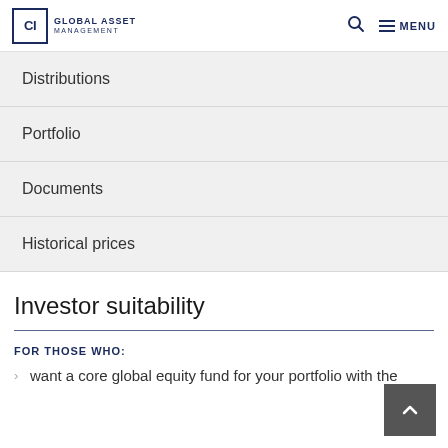CI Global Asset Management
Distributions
Portfolio
Documents
Historical prices
Investor suitability
FOR THOSE WHO:
want a core global equity fund for your portfolio with the